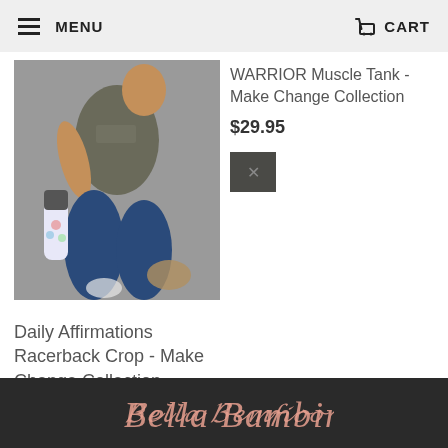MENU  CART
[Figure (photo): Woman sitting on floor wearing olive/grey muscle tank and blue leggings, holding a floral water bottle]
WARRIOR Muscle Tank - Make Change Collection
$29.95
[Figure (other): Dark charcoal color swatch]
Daily Affirmations Racerback Crop - Make Change Collection
$29.95
[Figure (other): Black and olive color swatches]
Bella Bambino (script logo)